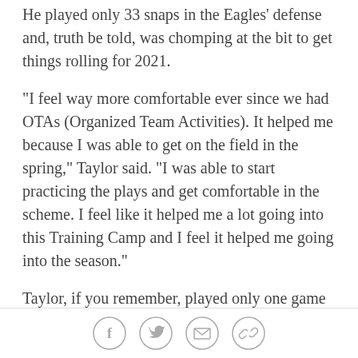He played only 33 snaps in the Eagles' defense and, truth be told, was chomping at the bit to get things rolling for 2021.
"I feel way more comfortable ever since we had OTAs (Organized Team Activities). It helped me because I was able to get on the field in the spring," Taylor said. "I was able to start practicing the plays and get comfortable in the scheme. I feel like it helped me a lot going into this Training Camp and I feel it helped me going into the season."
Taylor, if you remember, played only one game of high school football due to his religious beliefs, and even after starting his football career in community college and taking a big jump at the University of Colorado for two seasons, he entered the NFL as a raw prospect. He
Social share icons: Facebook, Twitter, Email, Link